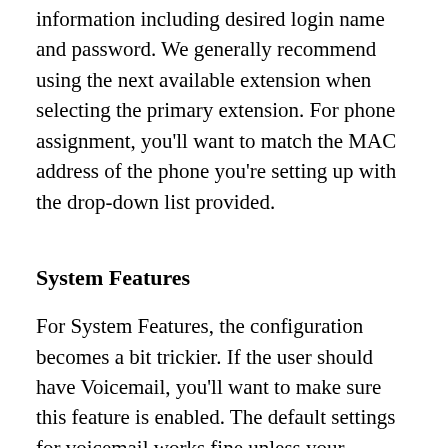information including desired login name and password. We generally recommend using the next available extension when selecting the primary extension. For phone assignment, you'll want to match the MAC address of the phone you're setting up with the drop-down list provided.
System Features
For System Features, the configuration becomes a bit trickier. If the user should have Voicemail, you'll want to make sure this feature is enabled. The default settings for voicemail works fine unless your company has changed to use different settings. If using Call Assistant